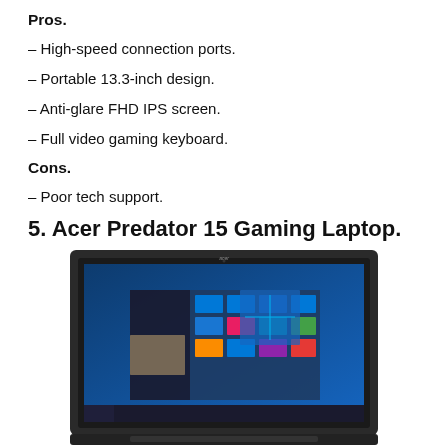Pros.
– High-speed connection ports.
– Portable 13.3-inch design.
– Anti-glare FHD IPS screen.
– Full video gaming keyboard.
Cons.
– Poor tech support.
5. Acer Predator 15 Gaming Laptop.
[Figure (photo): Acer Predator 15 gaming laptop displaying Windows 10 Start menu on a dark-colored laptop with a wide bezel and the Acer logo visible at the top center of the screen.]